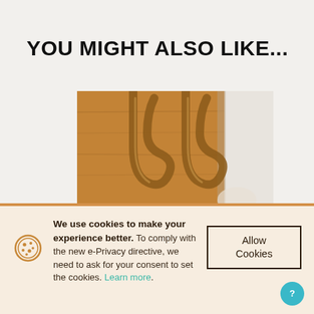YOU MIGHT ALSO LIKE...
[Figure (photo): Close-up photo of wooden furniture hooks/hangers on a bamboo or wood surface, warm toned]
We use cookies to make your experience better. To comply with the new e-Privacy directive, we need to ask for your consent to set the cookies. Learn more.